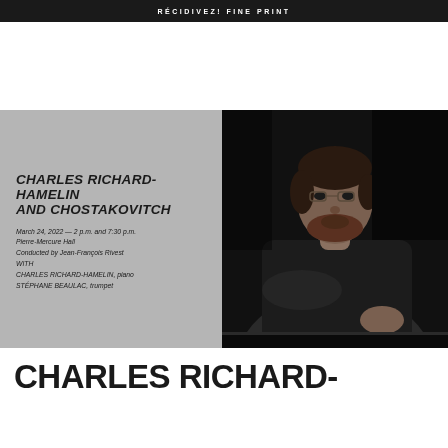RÉCIDIVEZ! FINE PRINT
[Figure (infographic): Concert event promotional layout with gray left panel containing event details text and black-and-white photo on right of a man in dark clothing seated at a piano, looking contemplatively to the side]
CHARLES RICHARD-HAMELIN AND CHOSTAKOVITCH
March 24, 2022 — 2 p.m. and 7:30 p.m.
Pierre-Mercure Hall
Conducted by Jean-François Rivest
WITH
CHARLES RICHARD-HAMELIN, piano
STÉPHANE BEAULAC, trumpet
CHARLES RICHARD-